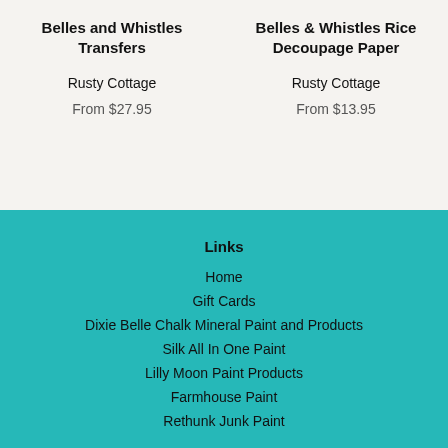Belles and Whistles Transfers
Rusty Cottage
From $27.95
Belles & Whistles Rice Decoupage Paper
Rusty Cottage
From $13.95
Links
Home
Gift Cards
Dixie Belle Chalk Mineral Paint and Products
Silk All In One Paint
Lilly Moon Paint Products
Farmhouse Paint
Rethunk Junk Paint